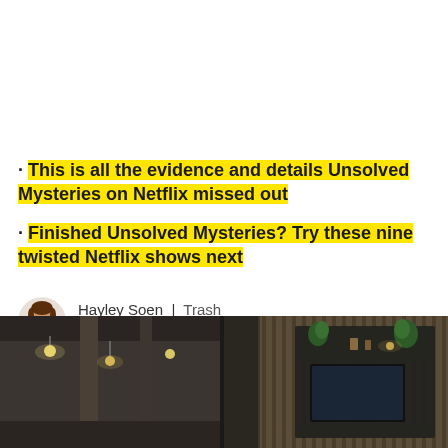· This is all the evidence and details Unsolved Mysteries on Netflix missed out
· Finished Unsolved Mysteries? Try these nine twisted Netflix shows next
Hayley Soen | Trash  UK
[Figure (photo): Interior design photo showing two views of a modern space with industrial ceiling and wooden wall panel with TV and plants]